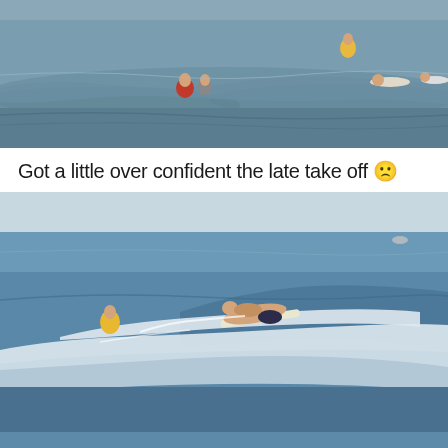[Figure (photo): Aerial or telephoto photo of surfers and swimmers in grey-blue ocean water with small waves. Several people visible in the water including one in a yellow top standing further back.]
Got a little over confident the late take off 🙁
[Figure (photo): Action surf photo at golden hour showing a surfer wiping out on a wave, lying flat on the surfboard as it goes over the crest. A person in a yellow vest visible in the background water. White foam and blue water with warm light.]